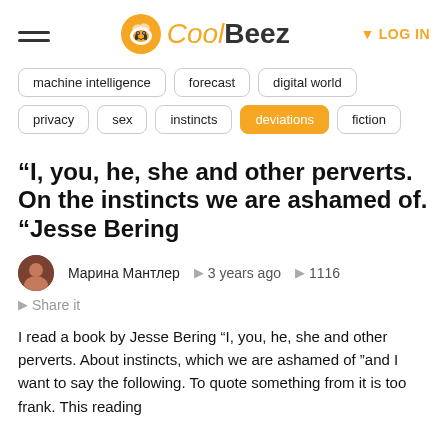CoolBeez | LOG IN
machine intelligence
forecast
digital world
privacy
sex
instincts
deviations
fiction
“I, you, he, she and other perverts. On the instincts we are ashamed of. “Jesse Bering
Марина Мантлер • 3 years ago • 1116
Share it
I read a book by Jesse Bering “I, you, he, she and other perverts. About instincts, which we are ashamed of ”and I want to say the following. To quote something from it is too frank. This reading